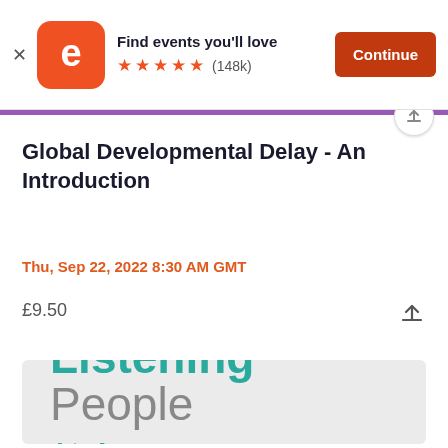[Figure (screenshot): Eventbrite app banner: logo icon, 'Find events you'll love', 5 star rating (148k reviews), and Continue button]
Global Developmental Delay - An Introduction
Thu, Sep 22, 2022 8:30 AM GMT
£9.50
[Figure (logo): Listening People / AtaLoss logo on grey background]